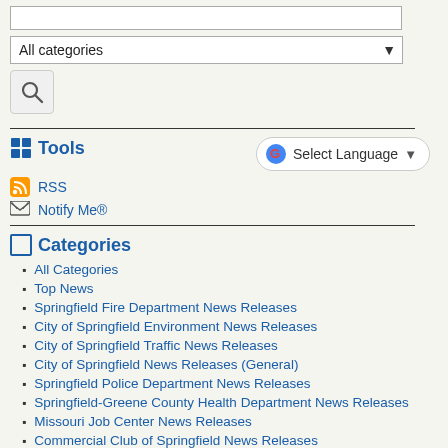[Search input field]
All categories [dropdown]
[Figure (other): Search button with magnifying glass icon]
Tools
Select Language [Google Translate dropdown]
RSS
Notify Me®
Categories
All Categories
Top News
Springfield Fire Department News Releases
City of Springfield Environment News Releases
City of Springfield Traffic News Releases
City of Springfield News Releases (General)
Springfield Police Department News Releases
Springfield-Greene County Health Department News Releases
Missouri Job Center News Releases
Commercial Club of Springfield News Releases
2016 City News Releases